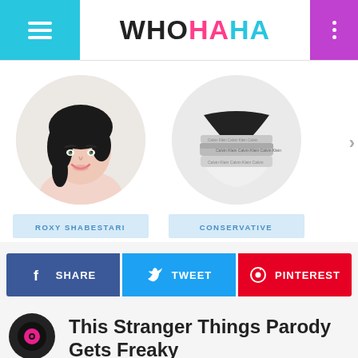WHOHAHA
[Figure (photo): Circular profile photo of Roxy Shabestari, a young woman with dark curly hair smiling]
ROXY SHABESTARI
[Figure (photo): Circular image of Calvin Klein conservative underwear/panties in black, grey and white]
CONSERVATIVE
SHARE
TWEET
PINTEREST
This Stranger Things Parody Gets Freaky